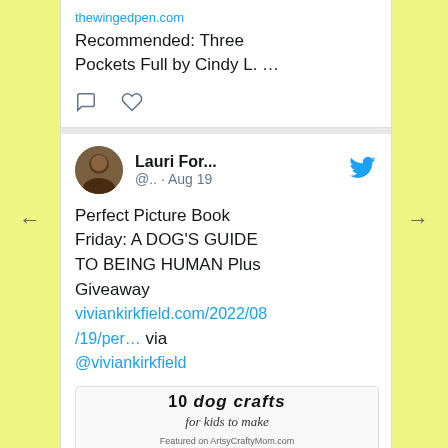thewingedpen.com
Recommended: Three Pockets Full by Cindy L. …
[Figure (screenshot): Twitter action icons: comment bubble and heart/like icon]
Lauri For... @.. · Aug 19
Perfect Picture Book Friday: A DOG'S GUIDE TO BEING HUMAN Plus Giveaway viviankirkfield.com/2022/08/19/per… via @viviankirkfield
[Figure (screenshot): Image card showing '10 dog crafts for kids to make, Featured on ArtsyCraftsyMom.com' with two dog craft photos]